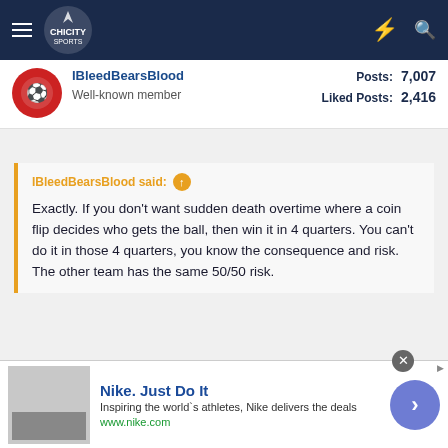ChiCity Sports forum navigation bar
Well-known member | Posts: 7,007 | Liked Posts: 2,416
IBleedBearsBlood said: ↑ Exactly. If you don't want sudden death overtime where a coin flip decides who gets the ball, then win it in 4 quarters. You can't do it in those 4 quarters, you know the consequence and risk. The other team has the same 50/50 risk.
Leomaz
Nike. Just Do It. Inspiring the world`s athletes, Nike delivers the deals. www.nike.com